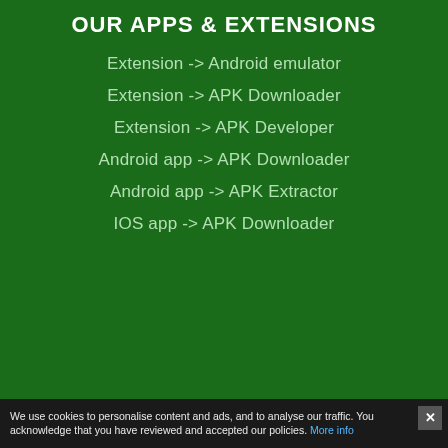OUR APPS & EXTENSIONS
Extension -> Android emulator
Extension -> APK Downloader
Extension -> APK Developer
Android app -> APK Downloader
Android app -> APK Extractor
IOS app -> APK Downloader
We use cookies to personalise content and ads, and to analyse our traffic. You acknowledge that you have reviewed and accepted our policies. More info